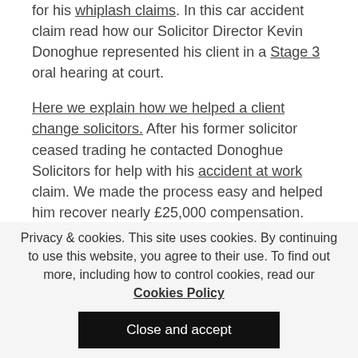for his whiplash claims. In this car accident claim read how our Solicitor Director Kevin Donoghue represented his client in a Stage 3 oral hearing at court.
Here we explain how we helped a client change solicitors. After his former solicitor ceased trading he contacted Donoghue Solicitors for help with his accident at work claim. We made the process easy and helped him recover nearly £25,000 compensation.
In this case study, we helped a dock worker recover
Privacy & cookies. This site uses cookies. By continuing to use this website, you agree to their use. To find out more, including how to control cookies, read our Cookies Policy